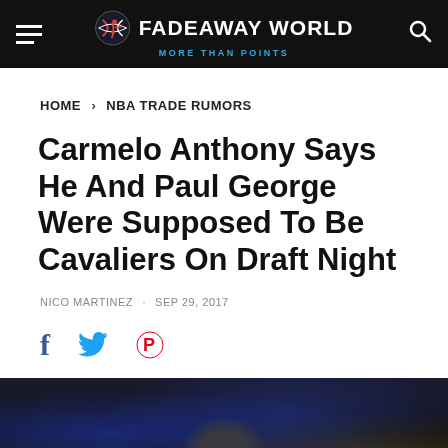FADEAWAY WORLD — MORE THAN POINTS
HOME › NBA TRADE RUMORS
Carmelo Anthony Says He And Paul George Were Supposed To Be Cavaliers On Draft Night
NICO MARTINEZ · SEP 29, 2017
[Figure (other): Social sharing icons: Facebook, Twitter, Pinterest]
[Figure (photo): Blurred photo of a basketball game arena scene, dark background with blue bokeh lights]